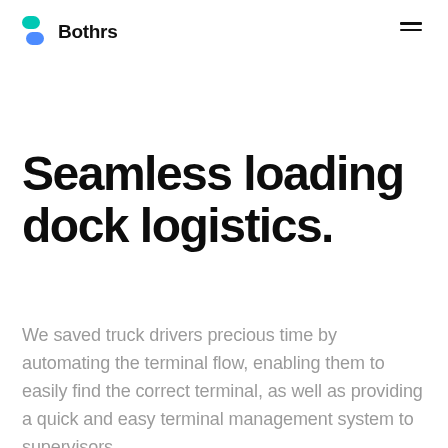Bothrs
Seamless loading dock logistics.
We saved truck drivers precious time by automating the terminal flow, enabling them to easily find the correct terminal, as well as providing a quick and easy terminal management system to supervisors.